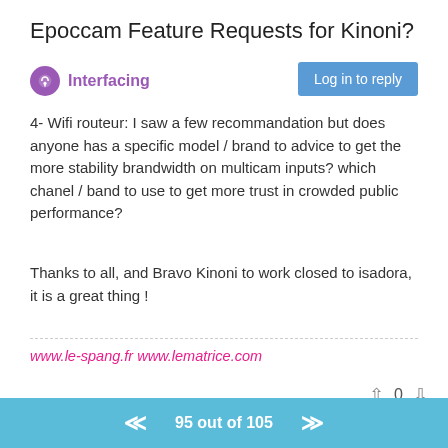Epoccam Feature Requests for Kinoni?
Interfacing
Log in to reply
4- Wifi routeur: I saw a few recommandation but does anyone has a specific model / brand to advice to get the more stability brandwidth on multicam inputs? which chanel / band to use to get more trust in crowded public performance?
Thanks to all, and Bravo Kinoni to work closed to isadora, it is a great thing !
www.le-spang.fr www.lematrice.com
0
Michel IZZY GURU Sep 22, 2014, 11:00 AM
@Kinoni
@bennid
95 out of 105